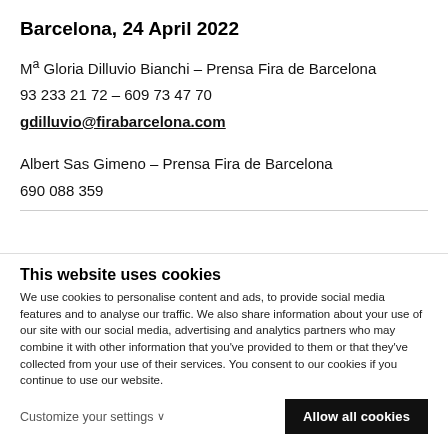Barcelona, 24 April 2022
Mª Gloria Dilluvio Bianchi – Prensa Fira de Barcelona
93 233 21 72 – 609 73 47 70
gdilluvio@firabarcelona.com
Albert Sas Gimeno – Prensa Fira de Barcelona
690 088 359
This website uses cookies
We use cookies to personalise content and ads, to provide social media features and to analyse our traffic. We also share information about your use of our site with our social media, advertising and analytics partners who may combine it with other information that you've provided to them or that they've collected from your use of their services. You consent to our cookies if you continue to use our website.
Customize your settings
Allow all cookies